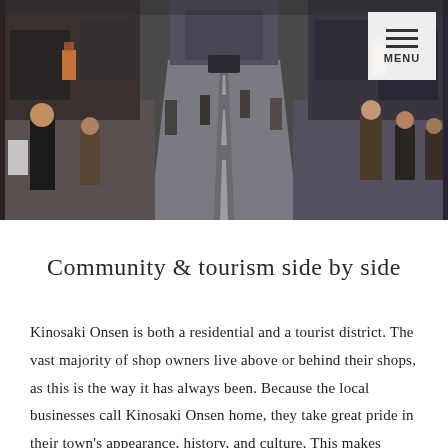[Figure (photo): Street scene of Kinosaki Onsen with pedestrians walking along a road lined with traditional shops. A menu button is visible in the top right corner.]
Community & tourism side by side
Kinosaki Onsen is both a residential and a tourist district. The vast majority of shop owners live above or behind their shops, as this is the way it has always been. Because the local businesses call Kinosaki Onsen home, they take great pride in their town's appearance, history, and culture. This makes Kinosaki Onsen an extremely safe, clean, and friendly place to